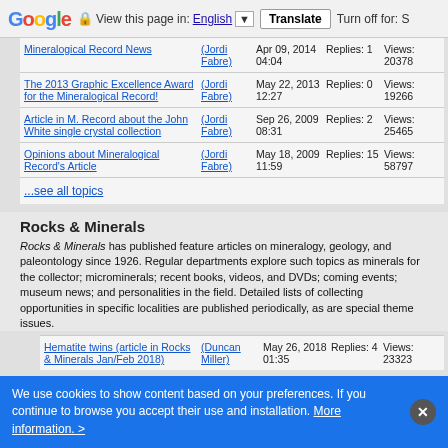Google | View this page in: English | Translate | Turn off for: S
Mineralogical Record News | (Jordi Fabre) | Apr 09, 2014 04:04 | Replies: 1 | Views: 20378
The 2013 Graphic Excellence Award for the Mineralogical Record! | (Jordi Fabre) | May 22, 2013 12:27 | Replies: 0 | Views: 19266
Article in M. Record about the John White single crystal collection | (Jordi Fabre) | Sep 26, 2009 08:31 | Replies: 2 | Views: 25465
Opinions about Mineralogical Record's Article | (Jordi Fabre) | May 18, 2009 11:59 | Replies: 15 | Views: 58797
...see all topics
Rocks & Minerals
Rocks & Minerals has published feature articles on mineralogy, geology, and paleontology since 1926. Regular departments explore such topics as minerals for the collector; microminerals; recent books, videos, and DVDs; coming events; museum news; and personalities in the field. Detailed lists of collecting opportunities in specific localities are published periodically, as are special theme issues.
Hematite twins (article in Rocks & Minerals Jan/Feb 2018) | (Duncan Miller) | May 26, 2018 01:35 | Replies: 4 | Views: 23323
We use cookies to show content based on your preferences. If you continue to browse you accept their use and installation. More information. >